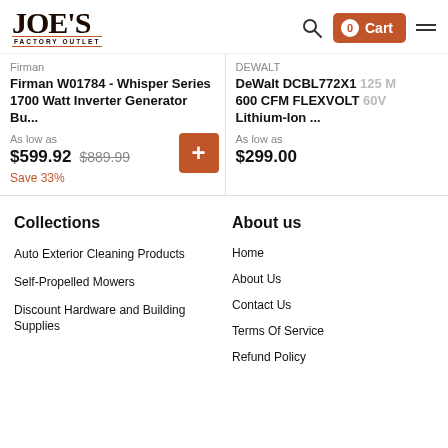[Figure (logo): Joe's Factory Outlet logo — bold serif JOE'S with FACTORY OUTLET below in small caps]
Firman
Firman W01784 - Whisper Series 1700 Watt Inverter Generator Bu...
As low as
$599.92 $889.99
Save 33%
DEWALT
DeWalt DCBL772X1 125 M 600 CFM FLEXVOLT 60V Lithium-Ion ...
As low as
$299.00
Collections
Auto Exterior Cleaning Products
Self-Propelled Mowers
Discount Hardware and Building Supplies
About us
Home
About Us
Contact Us
Terms Of Service
Refund Policy